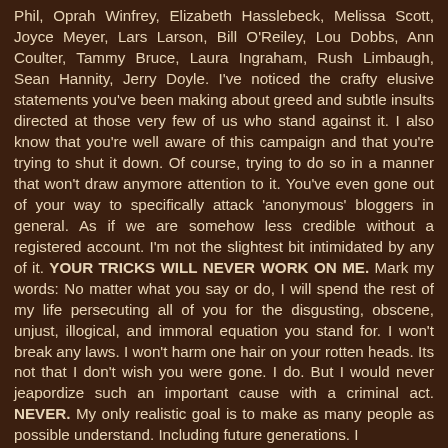Phil, Oprah Winfrey, Elizabeth Hasslebeck, Melissa Scott, Joyce Meyer, Lars Larson, Bill O'Reiley, Lou Dobbs, Ann Coulter, Tammy Bruce, Laura Ingraham, Rush Limbaugh, Sean Hannity, Jerry Doyle. I've noticed the crafty elusive statements you've been making about greed and subtle insults directed at those very few of us who stand against it. I also know that you're well aware of this campaign and that you're trying to shut it down. Of course, trying to do so in a manner that won't draw anymore attention to it. You've even gone out of your way to specifically attack 'anonymous' bloggers in general. As if we are somehow less credible without a registered account. I'm not the slightest bit intimidated by any of it. YOUR TRICKS WILL NEVER WORK ON ME. Mark my words: No matter what you say or do, I will spend the rest of my life persecuting all of you for the disgusting, obscene, unjust, illogical, and immoral equation you stand for. I won't break any laws. I won't harm one hair on your rotten heads. Its not that I don't wish you were gone. I do. But I would never jeapordize such an important cause with a criminal act. NEVER. My only realistic goal is to make as many people as possible understand. Including future generations. I